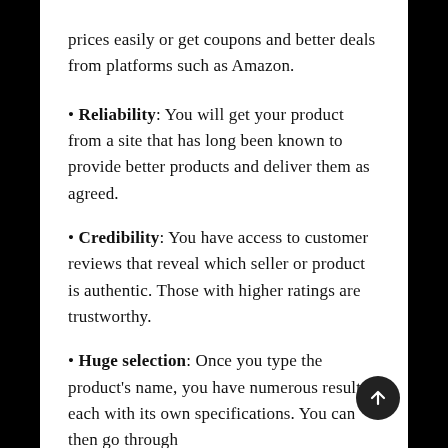prices easily or get coupons and better deals from platforms such as Amazon.
Reliability: You will get your product from a site that has long been known to provide better products and deliver them as agreed.
Credibility: You have access to customer reviews that reveal which seller or product is authentic. Those with higher ratings are trustworthy.
Huge selection: Once you type the product's name, you have numerous results, each with its own specifications. You can then go through